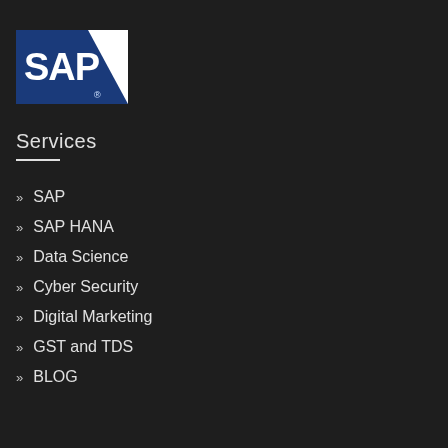[Figure (logo): SAP logo — white SAP text on dark blue background with white triangle/chevron shape on right side]
Services
» SAP
» SAP HANA
» Data Science
» Cyber Security
» Digital Marketing
» GST and TDS
» BLOG